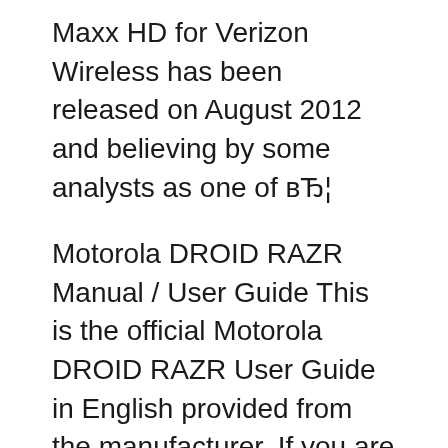Maxx HD for Verizon Wireless has been released on August 2012 and believing by some analysts as one of вЂ¦
Motorola DROID RAZR Manual / User Guide This is the official Motorola DROID RAZR User Guide in English provided from the manufacturer. If you are looking for detailed technical specifications, please see our Specs page. Motorola Blackberry User Manual Droid Razr Hd >>>CLICK HERE<<< Forgot User ID or Password? Transfer Pictures or Videos from the Device DROID RAZR HD / RAZR MAXX HD by MOTOROLA View your User Guide. How to reset Motorola Droid Razr HD to its factory settings. Motorola DROID RAZR M Specifications & User Manual Motorola Droid Razr M sports a